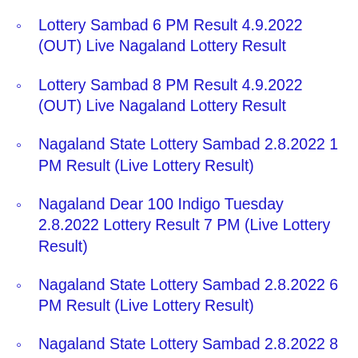Lottery Sambad 6 PM Result 4.9.2022 (OUT) Live Nagaland Lottery Result
Lottery Sambad 8 PM Result 4.9.2022 (OUT) Live Nagaland Lottery Result
Nagaland State Lottery Sambad 2.8.2022 1 PM Result (Live Lottery Result)
Nagaland Dear 100 Indigo Tuesday 2.8.2022 Lottery Result 7 PM (Live Lottery Result)
Nagaland State Lottery Sambad 2.8.2022 6 PM Result (Live Lottery Result)
Nagaland State Lottery Sambad 2.8.2022 8 PM Result (Live Lottery Result)